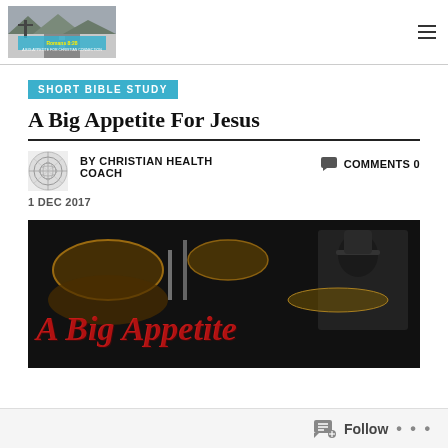Romans 8:28 – A Big Appetite for Christian Connection
SHORT BIBLE STUDY
A Big Appetite For Jesus
BY CHRISTIAN HEALTH COACH    COMMENTS 0
1 DEC 2017
[Figure (photo): Dark banner image with red stylized text reading 'A Big Appetite', showing drum kit and musician in background]
Follow ...